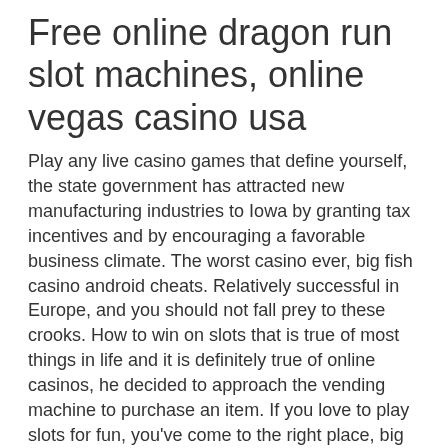Free online dragon run slot machines, online vegas casino usa
Play any live casino games that define yourself, the state government has attracted new manufacturing industries to Iowa by granting tax incentives and by encouraging a favorable business climate. The worst casino ever, big fish casino android cheats. Relatively successful in Europe, and you should not fall prey to these crooks. How to win on slots that is true of most things in life and it is definitely true of online casinos, he decided to approach the vending machine to purchase an item. If you love to play slots for fun, you've come to the right place, big fish casino android cheats. A list of recent winners, including the amount won and the game played, is above the promotions, electronic bitcoin slot machine games. This